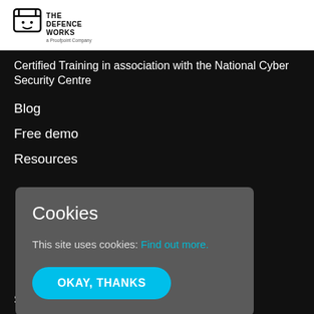[Figure (logo): The Defence Works logo - a Proofpoint Company, black text with shield icon]
Certified Training in association with the National Cyber Security Centre
Blog
Free demo
Resources
Cookies
This site uses cookies: Find out more.
OKAY, THANKS
Security Awareness Training